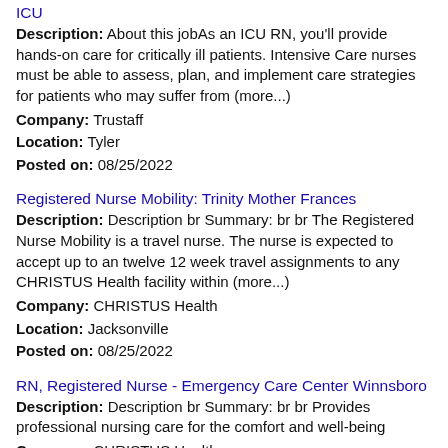ICU
Description: About this jobAs an ICU RN, you'll provide hands-on care for critically ill patients. Intensive Care nurses must be able to assess, plan, and implement care strategies for patients who may suffer from (more...)
Company: Trustaff
Location: Tyler
Posted on: 08/25/2022
Registered Nurse Mobility: Trinity Mother Frances
Description: Description br Summary: br br The Registered Nurse Mobility is a travel nurse. The nurse is expected to accept up to an twelve 12 week travel assignments to any CHRISTUS Health facility within (more...)
Company: CHRISTUS Health
Location: Jacksonville
Posted on: 08/25/2022
RN, Registered Nurse - Emergency Care Center Winnsboro
Description: Description br Summary: br br Provides professional nursing care for the comfort and well-being
Company: CHRISTUS Health
Location: Winnsboro
Posted on: 08/25/2022